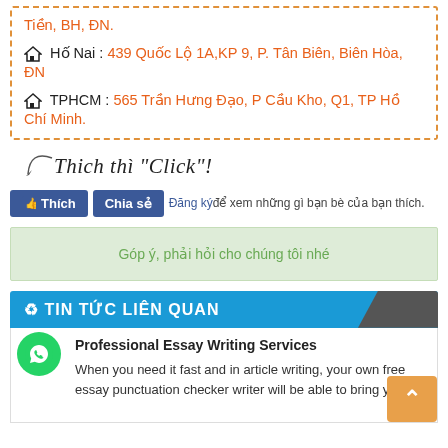Tiền, BH, ĐN.
🏠 Hố Nai : 439 Quốc Lộ 1A,KP 9, P. Tân Biên, Biên Hòa, ĐN
🏠 TPHCM : 565 Trần Hưng Đạo, P Cầu Kho, Q1, TP Hồ Chí Minh.
[Figure (illustration): Cursive handwriting style text: Thich thi "Click"! with a curved arrow]
👍 Thich | Chia sẻ | Đăng ký để xem những gì bạn bè của bạn thích.
Góp ý, phải hỏi cho chúng tôi nhé
♻ TIN TỨC LIÊN QUAN
Professional Essay Writing Services
When you need it fast and in article writing, your own free essay punctuation checker writer will be able to bring you the